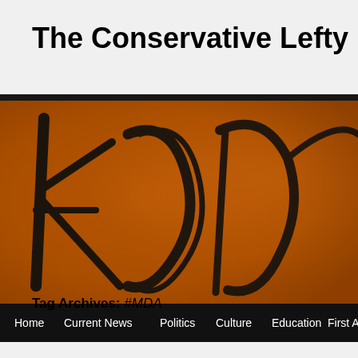The Conservative Lefty
[Figure (photo): Close-up photo of old cursive handwriting text on aged brown/orange parchment background, showing large decorative calligraphic letters]
Home  Current News  Politics  Culture  Education  First Ame...
Tag Archives: #MDA